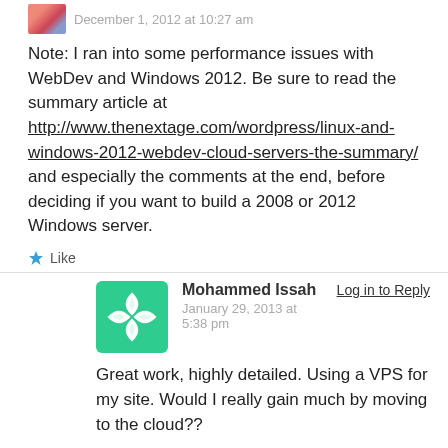December 1, 2012 at 10:27 am
Note: I ran into some performance issues with WebDev and Windows 2012. Be sure to read the summary article at http://www.thenextage.com/wordpress/linux-and-windows-2012-webdev-cloud-servers-the-summary/ and especially the comments at the end, before deciding if you want to build a 2008 or 2012 Windows server.
Like
Mohammed Issah
January 29, 2013 at 5:38 pm
Log in to Reply
Great work, highly detailed. Using a VPS for my site. Would I really gain much by moving to the cloud??
Like